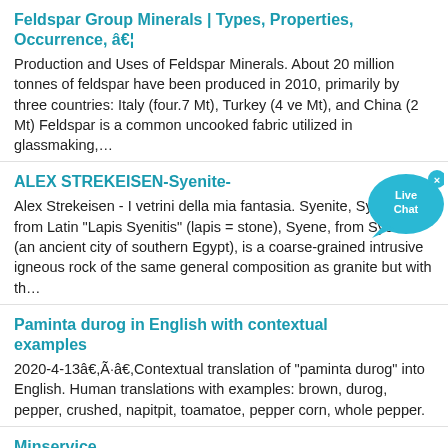Feldspar Group Minerals | Types, Properties, Occurrence, â€¦
Production and Uses of Feldspar Minerals. About 20 million tonnes of feldspar have been produced in 2010, primarily by three countries: Italy (four.7 Mt), Turkey (4 ve Mt), and China (2 Mt) Feldspar is a common uncooked fabric utilized in glassmaking,…
ALEX STREKEISEN-Syenite-
Alex Strekeisen - I vetrini della mia fantasia. Syenite, Syenite, from Latin "Lapis Syenitis" (lapis = stone), Syene, from Syene (an ancient city of southern Egypt), is a coarse-grained intrusive igneous rock of the same general composition as granite but with th…
Paminta durog in English with contextual examples
2020-4-13â€,Ã·â€,Contextual translation of "paminta durog" into English. Human translations with examples: brown, durog, pepper, crushed, napitpit, toamatoe, pepper corn, whole pepper.
Minservice
Rolando"s Minerals is a part time minerals dealership based near Turin in northern Italy that I just started